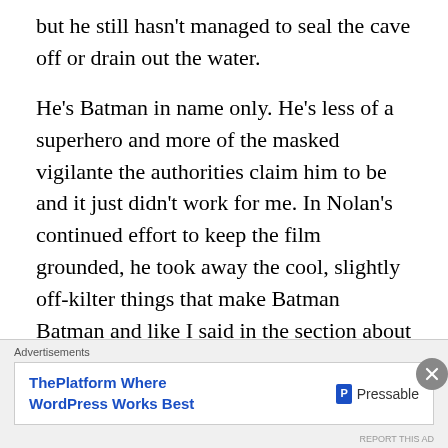but he still hasn't managed to seal the cave off or drain out the water.
He's Batman in name only. He's less of a superhero and more of the masked vigilante the authorities claim him to be and it just didn't work for me. In Nolan's continued effort to keep the film grounded, he took away the cool, slightly off-kilter things that make Batman Batman and like I said in the section about Catwoman; this is a film about a crime fighting billionaire in a bat costume: you can afford to be a little more lenient with realism without hurting your overall goal.
The Story. Okay. So I don't feel like hashing out the entire
[Figure (other): Advertisement banner: 'Advertisements' label above a white box containing 'ThePlatform Where WordPress Works Best' in bold blue text on the left, and 'Pressable' logo with blue P icon on the right. A close/X button overlays the top-right corner.]